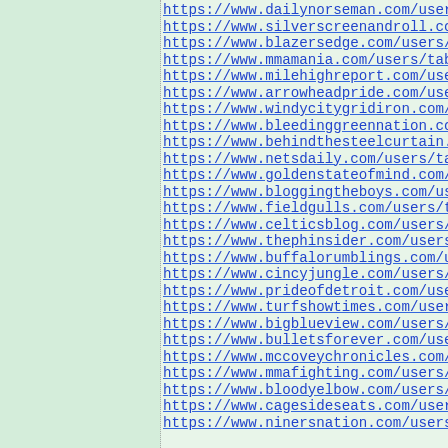https://www.dailynorseman.com/users/tableauxdum
https://www.silverscreenandroll.com/users/table
https://www.blazersedge.com/users/tableauxdumon
https://www.mmamania.com/users/tableauxdumonde
https://www.milehighreport.com/users/tableauxdu
https://www.arrowheadpride.com/users/tableauxdu
https://www.windycitygridiron.com/users/tableau
https://www.bleedinggreennation.com/users/table
https://www.behindthesteelcurtain.com/users/tab
https://www.netsdaily.com/users/tableauxdumonde
https://www.goldenstateofmind.com/users/tableau
https://www.bloggingtheboys.com/users/tableauxd
https://www.fieldgulls.com/users/tableauxdmond
https://www.celticsblog.com/users/tableauxdumon
https://www.thephinsider.com/users/tableauxdumo
https://www.buffalorumblings.com/users/tableaux
https://www.cincyjungle.com/users/tableauxdumon
https://www.prideofdetroit.com/users/tableauxdu
https://www.turfshowtimes.com/users/tableauxdum
https://www.bigblueview.com/users/tableauxdumon
https://www.bulletsforever.com/users/tableauxdu
https://www.mccoveychronicles.com/users/tableau
https://www.mmafighting.com/users/hybridcore
https://www.bloodyelbow.com/users/hybridcore
https://www.cagesideseats.com/users/hybridcore
https://www.ninersnation.com/users/hybridcore